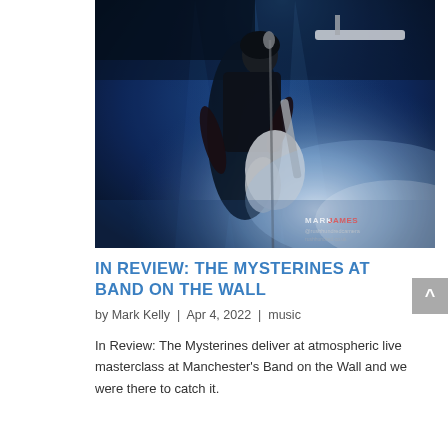[Figure (photo): Concert photo of a guitarist performing on stage, bathed in blue and white stage lighting with haze/fog. The performer is wearing a dark short-sleeved shirt and playing a white electric guitar. A microphone stand is visible. The mood is atmospheric. A photographer watermark is visible in the bottom-right corner.]
IN REVIEW: THE MYSTERINES AT BAND ON THE WALL
by Mark Kelly | Apr 4, 2022 | music
In Review: The Mysterines deliver at atmospheric live masterclass at Manchester's Band on the Wall and we were there to catch it.